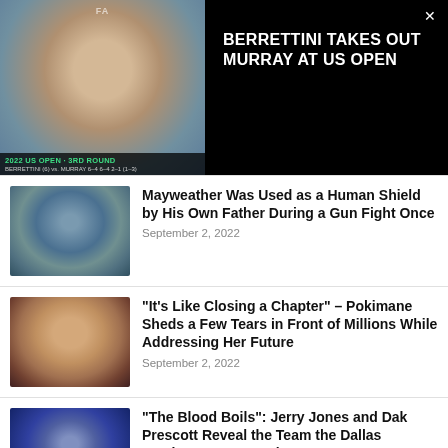[Figure (screenshot): Video thumbnail of tennis player at 2022 US Open - 3rd Round, showing scoreboard overlay]
BERRETTINI TAKES OUT MURRAY AT US OPEN
[Figure (photo): Blurred thumbnail image for Mayweather article]
Mayweather Was Used as a Human Shield by His Own Father During a Gun Fight Once
September 2, 2022
[Figure (photo): Blurred thumbnail image for Pokimane article]
“It’s Like Closing a Chapter” – Pokimane Sheds a Few Tears in Front of Millions While Addressing Her Future
September 2, 2022
[Figure (photo): Blurred thumbnail image for Dallas Cowboys article]
“The Blood Boils”: Jerry Jones and Dak Prescott Reveal the Team the Dallas Cowboys Desperately Want to Destroy
September 2, 2022